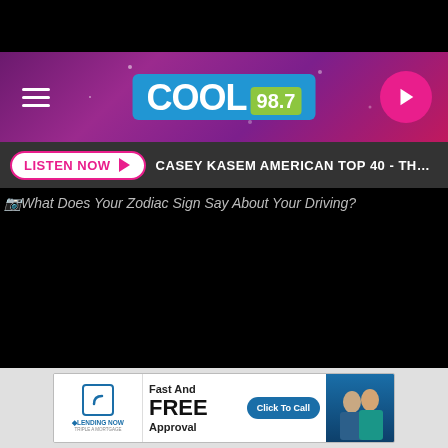[Figure (screenshot): Top black bar area of a mobile browser screenshot]
COOL 98.7
LISTEN NOW ▶  CASEY KASEM AMERICAN TOP 40 - THE 70S
What Does Your Zodiac Sign Say About Your Driving?
[Figure (photo): Main article image area (black/dark, failed to load), with Getty Images watermark in lower right]
Getty Images
[Figure (other): Advertisement banner: Lending Now - Fast And FREE Approval - Click To Call, with photo of two people]